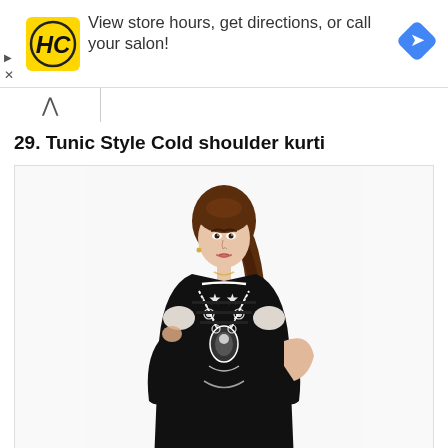[Figure (screenshot): Advertisement banner for a salon/hair care business (HC logo in yellow, with text 'View store hours, get directions, or call your salon!' and a blue navigation diamond icon on the right. Small play and X icons on the left edge.]
29. Tunic Style Cold shoulder kurti
[Figure (photo): A woman wearing a black cold-shoulder kurti with white embroidery/embellishments in a V-pattern on the front. She has long brown hair and is posing against a white background.]